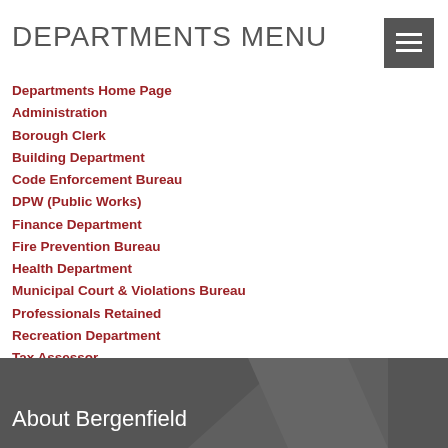DEPARTMENTS MENU
Departments Home Page
Administration
Borough Clerk
Building Department
Code Enforcement Bureau
DPW (Public Works)
Finance Department
Fire Prevention Bureau
Health Department
Municipal Court & Violations Bureau
Professionals Retained
Recreation Department
Tax Assessor
Tax Collector
About Bergenfield